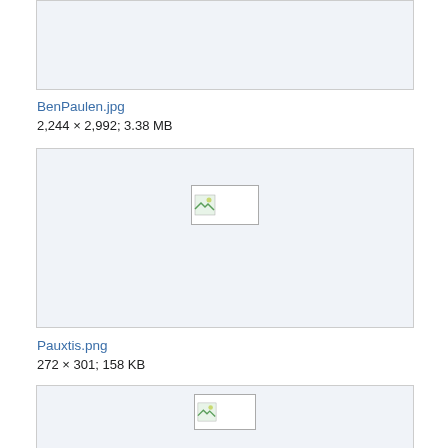[Figure (other): Broken/missing image thumbnail box (top, partially visible)]
BenPaulen.jpg
2,244 × 2,992; 3.38 MB
[Figure (other): Broken/missing image thumbnail box with broken image icon]
Pauxtis.png
272 × 301; 158 KB
[Figure (other): Broken/missing image thumbnail box (bottom, partially visible)]